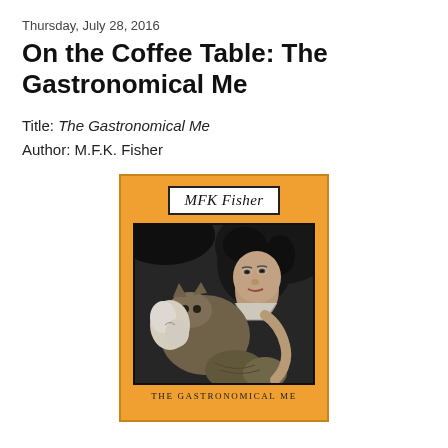Thursday, July 28, 2016
On the Coffee Table: The Gastronomical Me
Title: The Gastronomical Me
Author: M.F.K. Fisher
[Figure (photo): Book cover of 'The Gastronomical Me' by MFK Fisher. Orange cover with author name MFK Fisher in an italic serif font inside a white bordered rectangle at the top. Below is a black and white photograph of a woman holding a cat and some vegetables/food items. At the bottom of the cover text reads 'The Gastronomical Me' in spaced serif capitals.]